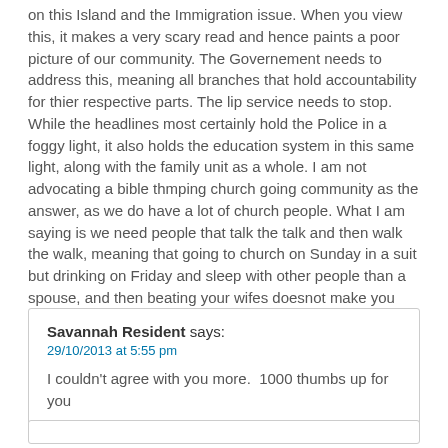on this Island and the Immigration issue. When you view this, it makes a very scary read and hence paints a poor picture of our community. The Governement needs to address this, meaning all branches that hold accountability for thier respective parts. The lip service needs to stop. While the headlines most certainly hold the Police in a foggy light, it also holds the education system in this same light, along with the family unit as a whole. I am not advocating a bible thmping church going community as the answer, as we do have a lot of church people. What I am saying is we need people that talk the talk and then walk the walk, meaning that going to church on Sunday in a suit but drinking on Friday and sleep with other people than a spouse, and then beating your wifes doesnot make you are good and moral person. When you look at the home life of alot of this community, no matter the income, in most cases they are broken. This is where the problem lies at the root. The culture of bumping and grinding one and all. The alchol abuse is out of control. Point fingers at the Police for certain, but hold a mirror to yourself.
Savannah Resident says:
29/10/2013 at 5:55 pm
I couldn't agree with you more.  1000 thumbs up for you